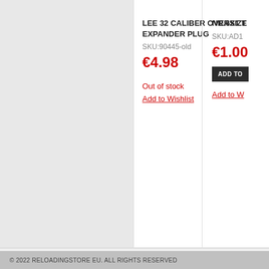LEE 32 CALIBER OVERSIZE EXPANDER PLUG
SKU:90445-old
€4.98
Out of stock
Add to Wishlist
NR.6X1 T
SKU:AD1
€1.00
ADD TO
Add to W
Items 1 to 12 of 1680 total
Pa
View as: Grid  List
CONTACT INFORMATION
SITE MAP
ADVANCED SEARCH
ORDERS AND RETURNS
CONTACT US
SHIPPING & RETURNS
SIGN
VIEW
MY W
[Figure (logo): Now Accepting PayPal button with blue gradient background]
© 2022 RELOADINGSTORE EU. ALL RIGHTS RESERVED